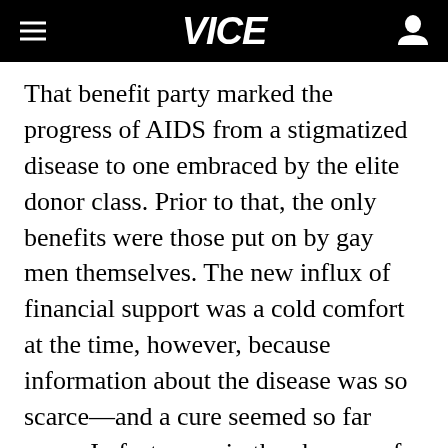VICE
That benefit party marked the progress of AIDS from a stigmatized disease to one embraced by the elite donor class. Prior to that, the only benefits were those put on by gay men themselves. The new influx of financial support was a cold comfort at the time, however, because information about the disease was so scarce—and a cure seemed so far away. In fact, even in the absence of scientific proof, people desperately clung to any kind of regimen they hoped would have an effect. For an earlier assignment, I attended a meeting at New York's LGBT center in Greenwich Village, where the